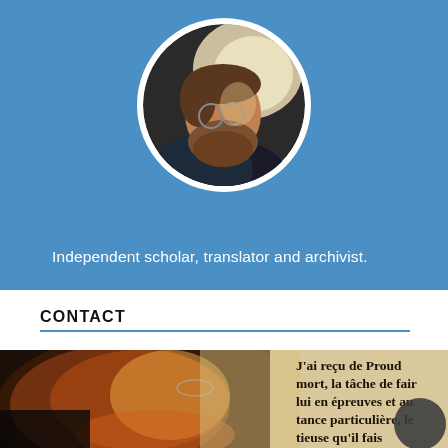[Figure (photo): Circular profile photo of a bearded man with glasses, set against a blue banner background]
Independent scholar, translator and archivist.
CONTACT
[Figure (photo): Photo of a bearded man with glasses in profile view, overlaid with a scanned French text document reading 'J'ai reçu de Proud mort, la tâche de fair lui en épreuves et au tance particulière, le tieuse qu'il fais ses publications... suis acquitté...' and a dark moon/night mode badge in the bottom right corner]